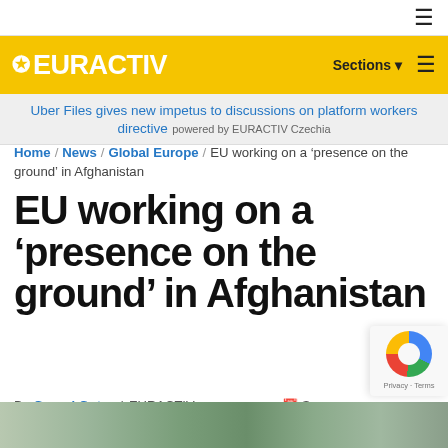≡
[Figure (logo): EURACTIV logo with star on yellow background, with Sections dropdown and hamburger menu]
Uber Files gives new impetus to discussions on platform workers directive powered by EURACTIV Czechia
Home / News / Global Europe / EU working on a 'presence on the ground' in Afghanistan
EU working on a 'presence on the ground' in Afghanistan
By Georgi Gotev | EURACTIV.com Sep
[Figure (photo): Partial photo at bottom of page showing outdoor scene in Afghanistan]